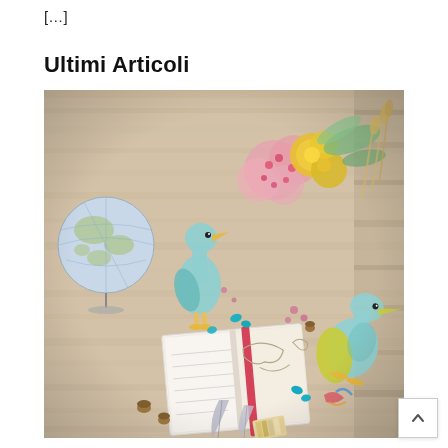[…]
Ultimi Articoli
[Figure (photo): Flatlay photo on a wooden floor featuring two teal and yellow stuffed animal birds (geese/ducks), an open notebook with a red ribbon bookmark, dried and fresh flowers (pink, yellow, eucalyptus), a globe on a stand, feathers, and scattered small objects like acorns and colorful easter egg shapes.]